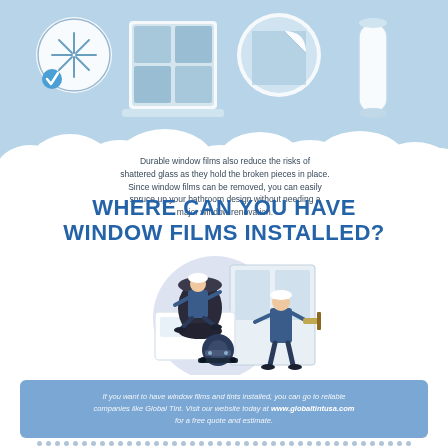[Figure (infographic): Top sky-blue section with window film icons: checkmark circle with snowflake, frosted window panes, circular film peel, and cylindrical film roll]
Durable window films also reduce the risks of shattered glass as they hold the broken pieces in place. Since window films can be removed, you can easily spruce up your bathroom design without needing a major window renovation.
WHERE CAN YOU HAVE WINDOW FILMS INSTALLED?
[Figure (illustration): Illustration of two workers in overalls installing window films/tints. One worker sits on top of a large dark cylindrical roll of film, the other stands holding installation tools near a door/window frame. A circular light purple background. Various equipment shown.]
If you want to have window films and tints installed, you can go to reliable companies like Global Tint. Visit our website today at www.globaltintusa.com for a free quote and estimate.